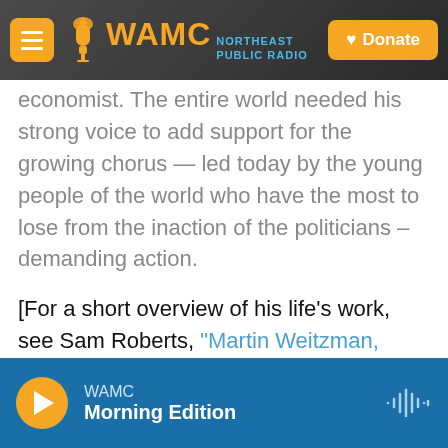WAMC NORTHEAST PUBLIC RADIO — Donate
economist. The entire world needed his strong voice to add support for the growing chorus — led today by the young people of the world who have the most to lose from the inaction of the politicians – demanding action.
[For a short overview of his life's work, see Sam Roberts, "Martin Weitzman, Virtuoso Climate Change Economist, Dies at 77."  The New York Times, September 4, 2019]
Weitzman focused his attention on what he called low probability catastrophic events.   In the area of climate change there are a number of possible
WAMC — Morning Edition